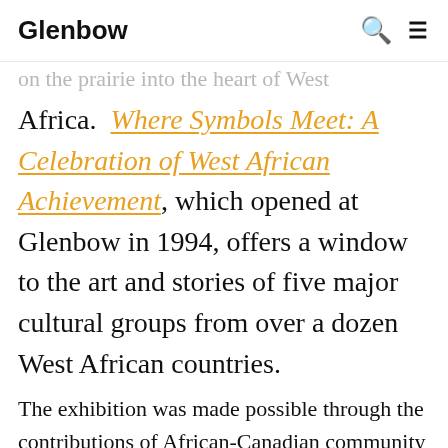Glenbow
on the prairie into the heart of West Africa. Where Symbols Meet: A Celebration of West African Achievement, which opened at Glenbow in 1994, offers a window to the art and stories of five major cultural groups from over a dozen West African countries.
The exhibition was made possible through the contributions of African-Canadian community